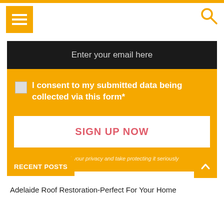[Figure (screenshot): Orange top navigation bar with hamburger menu icon on left and search icon on right]
Enter your email here
I consent to my submitted data being collected via this form*
SIGN UP NOW
we respect your privacy and take protecting it seriously
RECENT POSTS
Adelaide Roof Restoration-Perfect For Your Home